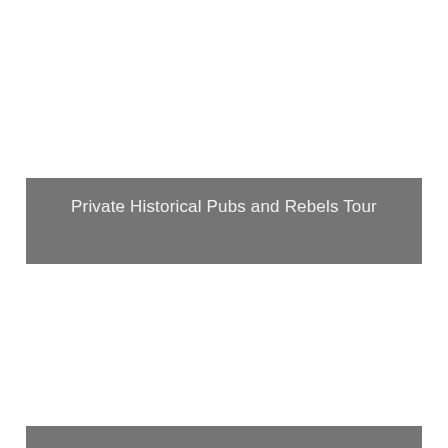Private Historical Pubs and Rebels Tour